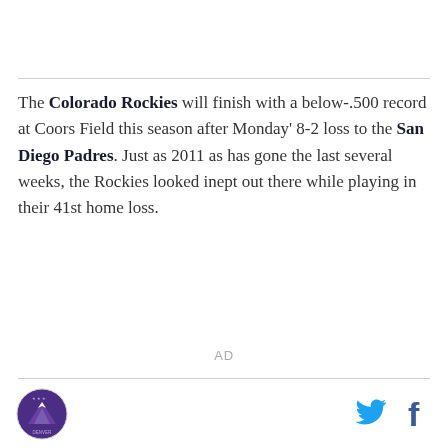The Colorado Rockies will finish with a below-.500 record at Coors Field this season after Monday' 8-2 loss to the San Diego Padres. Just as 2011 as has gone the last several weeks, the Rockies looked inept out there while playing in their 41st home loss.
AD
[Figure (logo): Purple circular sports team logo with mountain graphic]